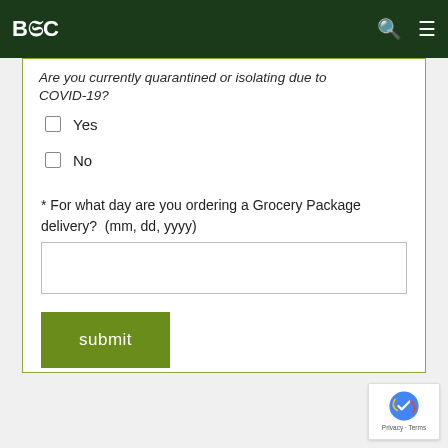BSC (logo) with search and menu icons
Are you currently quarantined or isolating due to COVID-19?
Yes
No
* For what day are you ordering a Grocery Package delivery?  (mm, dd, yyyy)
submit